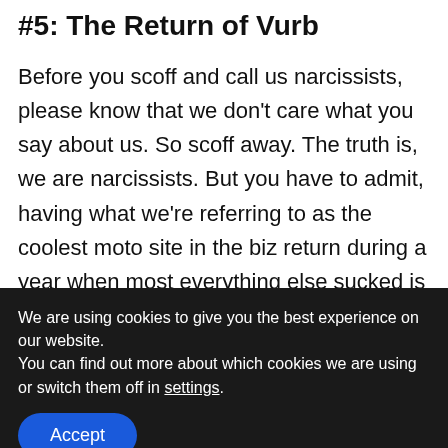#5: The Return of Vurb
Before you scoff and call us narcissists, please know that we don't care what you say about us. So scoff away. The truth is, we are narcissists. But you have to admit, having what we're referring to as the coolest moto site in the biz return during a year when most everything else sucked is pretty awesome.
So how'd it happen? What prompted us to bring
We are using cookies to give you the best experience on our website.
You can find out more about which cookies we are using or switch them off in settings.
Accept